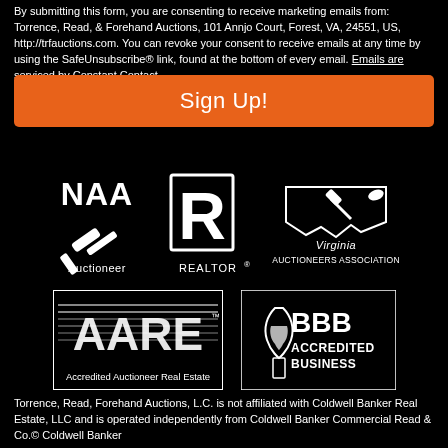By submitting this form, you are consenting to receive marketing emails from: Torrence, Read, & Forehand Auctions, 101 Annjo Court, Forest, VA, 24551, US, http://trfauctions.com. You can revoke your consent to receive emails at any time by using the SafeUnsubscribe® link, found at the bottom of every email. Emails are serviced by Constant Contact.
Sign Up!
[Figure (logo): NAA Auctioneer logo - white text on black background]
[Figure (logo): Realtor logo - R symbol with REALTOR text]
[Figure (logo): Virginia Auctioneers Association logo]
[Figure (logo): Accredited Auctioneer Real Estate (AARE) logo]
[Figure (logo): BBB Accredited Business logo]
Torrence, Read, Forehand Auctions, L.C. is not affiliated with Coldwell Banker Real Estate, LLC and is operated independently from Coldwell Banker Commercial Read & Co.© Coldwell Banker